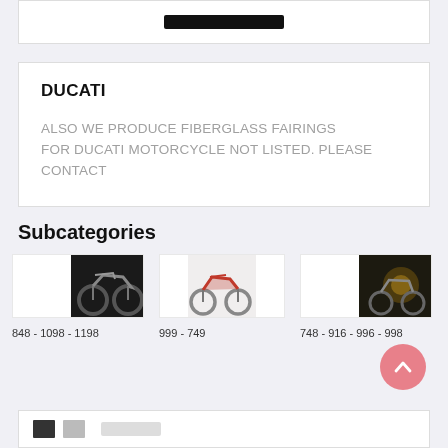[Figure (other): Top card with black bar/logo element]
DUCATI
ALSO WE PRODUCE FIBERGLASS FAIRINGS FOR DUCATI MOTORCYCLE NOT LISTED. PLEASE CONTACT
Subcategories
[Figure (photo): Ducati sport motorcycle dark background - 848-1098-1198]
848 - 1098 - 1198
[Figure (photo): Ducati red sport motorcycle - 999-749]
999 - 749
[Figure (photo): Ducati motorcycle in workshop dark - 748-916-996-998]
748 - 916 - 996 - 998
[Figure (other): Bottom card with small images/icons]